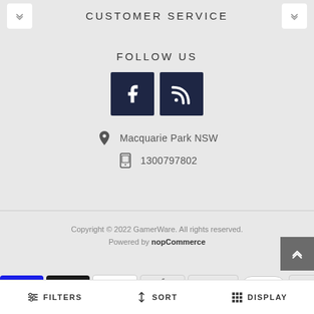CUSTOMER SERVICE
FOLLOW US
[Figure (illustration): Facebook icon button (dark navy square) and RSS feed icon button (dark navy square)]
Macquarie Park NSW
1300797802
Copyright © 2022 GamerWare. All rights reserved. Powered by nopCommerce
[Figure (illustration): Payment method icons: Visa, Mastercard, PayPal, Apple Pay, Google Pay, and others]
FILTERS   SORT   DISPLAY